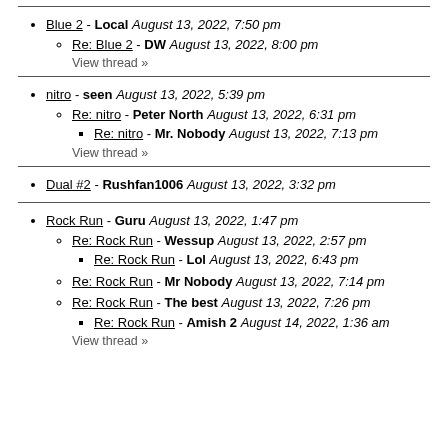Blue 2 - Local August 13, 2022, 7:50 pm
Re: Blue 2 - DW August 13, 2022, 8:00 pm
View thread »
nitro - seen August 13, 2022, 5:39 pm
Re: nitro - Peter North August 13, 2022, 6:31 pm
Re: nitro - Mr. Nobody August 13, 2022, 7:13 pm
View thread »
Dual #2 - Rushfan1006 August 13, 2022, 3:32 pm
Rock Run - Guru August 13, 2022, 1:47 pm
Re: Rock Run - Wessup August 13, 2022, 2:57 pm
Re: Rock Run - Lol August 13, 2022, 6:43 pm
Re: Rock Run - Mr Nobody August 13, 2022, 7:14 pm
Re: Rock Run - The best August 13, 2022, 7:26 pm
Re: Rock Run - Amish 2 August 14, 2022, 1:36 am
View thread »